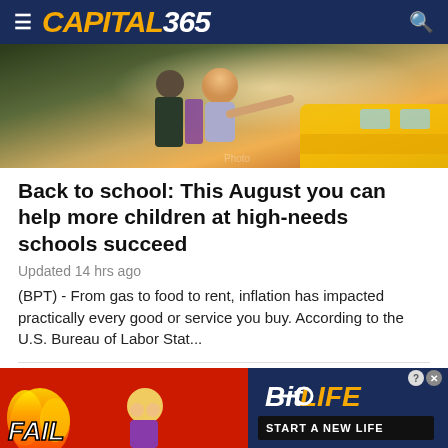CAPITAL365
[Figure (photo): A young child joyfully reaching out near a yellow school bus, held by an adult]
Back to school: This August you can help more children at high-needs schools succeed
Updated 14 hrs ago
(BPT) - From gas to food to rent, inflation has impacted practically every good or service you buy. According to the U.S. Bureau of Labor Stat...
[Figure (photo): Two people talking outdoors, partial view]
[Figure (other): BitLife advertisement banner with FAIL text, fire imagery, and START A NEW LIFE tagline]